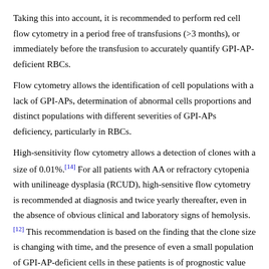Taking this into account, it is recommended to perform red cell flow cytometry in a period free of transfusions (>3 months), or immediately before the transfusion to accurately quantify GPI-AP-deficient RBCs.
Flow cytometry allows the identification of cell populations with a lack of GPI-APs, determination of abnormal cells proportions and distinct populations with different severities of GPI-APs deficiency, particularly in RBCs.
High-sensitivity flow cytometry allows a detection of clones with a size of 0.01%.[14] For all patients with AA or refractory cytopenia with unilineage dysplasia (RCUD), high-sensitive flow cytometry is recommended at diagnosis and twice yearly thereafter, even in the absence of obvious clinical and laboratory signs of hemolysis.[12] This recommendation is based on the finding that the clone size is changing with time, and the presence of even a small population of GPI-AP-deficient cells in these patients is of prognostic value and affects the choice of therapy.[12],[25],[28] For example, the presence of PNH cells in patients with AA or RCUD, as demonstrated in some studies [20],[25],[29] is a favorable prognostic factor for patients receiving immunosuppressive therapy.